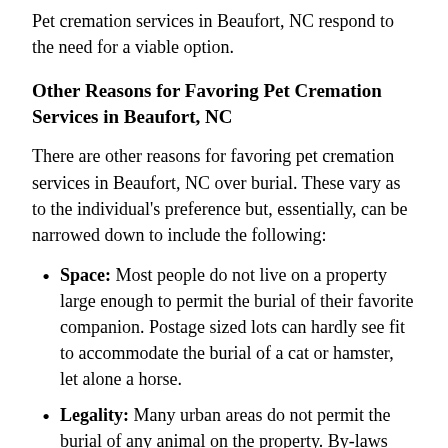Pet cremation services in Beaufort, NC respond to the need for a viable option.
Other Reasons for Favoring Pet Cremation Services in Beaufort, NC
There are other reasons for favoring pet cremation services in Beaufort, NC over burial. These vary as to the individual's preference but, essentially, can be narrowed down to include the following:
Space: Most people do not live on a property large enough to permit the burial of their favorite companion. Postage sized lots can hardly see fit to accommodate the burial of a cat or hamster, let alone a horse.
Legality: Many urban areas do not permit the burial of any animal on the property. By-laws prohibit this use of your space.
Rental Property: If you rent your property, it is not yours to turn into a pet cemetery. It can also be a nasty shock to those who move into your home and, while